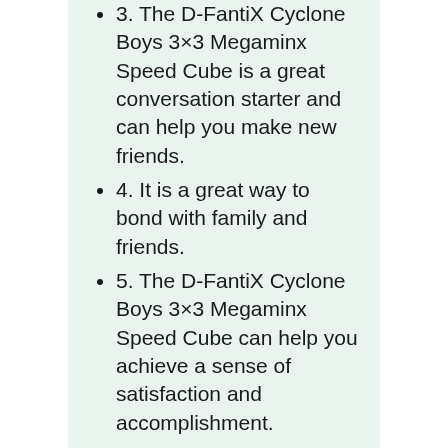3. The D-FantiX Cyclone Boys 3×3 Megaminx Speed Cube is a great conversation starter and can help you make new friends.
4. It is a great way to bond with family and friends.
5. The D-FantiX Cyclone Boys 3×3 Megaminx Speed Cube can help you achieve a sense of satisfaction and accomplishment.
CONS
1. The cube is challenging to solve and may be frustrating for some people.
2. The stickers on the cube can peel off over time.